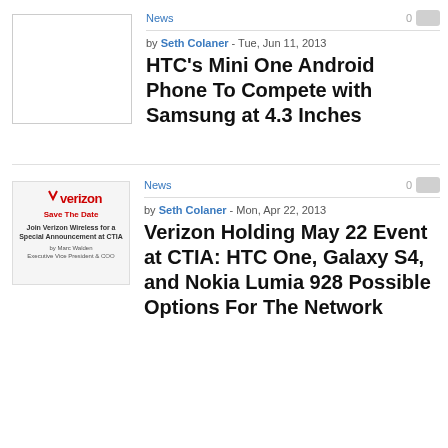News
by Seth Colaner - Tue, Jun 11, 2013
HTC's Mini One Android Phone To Compete with Samsung at 4.3 Inches
[Figure (photo): Blank white thumbnail placeholder image]
News
by Seth Colaner - Mon, Apr 22, 2013
Verizon Holding May 22 Event at CTIA: HTC One, Galaxy S4, and Nokia Lumia 928 Possible Options For The Network
[Figure (photo): Verizon Save The Date invitation card for a special announcement at CTIA]